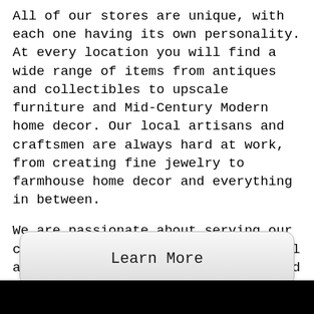All of our stores are unique, with each one having its own personality. At every location you will find a wide range of items from antiques and collectibles to upscale furniture and Mid-Century Modern home decor. Our local artisans and craftsmen are always hard at work, from creating fine jewelry to farmhouse home decor and everything in between.
We are passionate about serving our communities by providing exceptional antique malls to gather, connect and shop.
Learn More